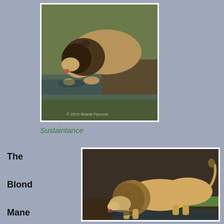[Figure (photo): A male lion with a dark mane drinking water from a river or watering hole, leaning down with its tongue in the water. Rocky muddy banks and grassy area in background. Watermark: © 2015 Bharat Fipoccin]
Sustaintance
The Blond Mane Male
[Figure (photo): A male lion with a blond/light mane drinking water, standing with its head down to the water surface. Full body visible showing lean muscular frame. Muddy rocky bank and green grass in background.]